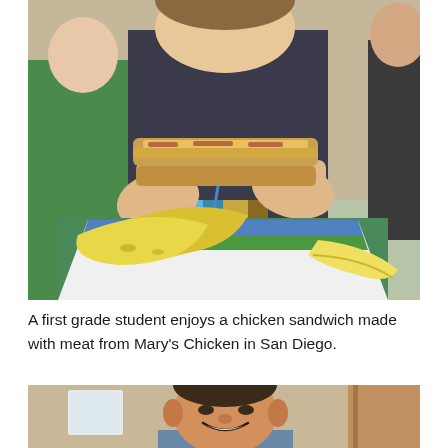[Figure (photo): A first grade student holds up a chicken sandwich in both hands, eating it. In front of the student on a green table is a paper food tray with bananas. Other students in green shirts are visible in the background.]
A first grade student enjoys a chicken sandwich made with meat from Mary's Chicken in San Diego.
[Figure (photo): A smiling man (partial view, head and shoulders) in front of a wall with papers, partially cropped at the bottom of the page.]